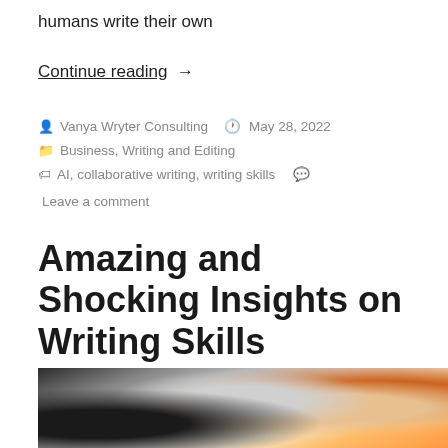humans write their own
Continue reading →
Vanya Wryter Consulting   May 28, 2022
Business, Writing and Editing
AI, collaborative writing, writing skills   Leave a comment
Amazing and Shocking Insights on Writing Skills
[Figure (photo): Person writing or working at a desk with a laptop, pencil holder with colorful design, flowers, and orange elements visible]